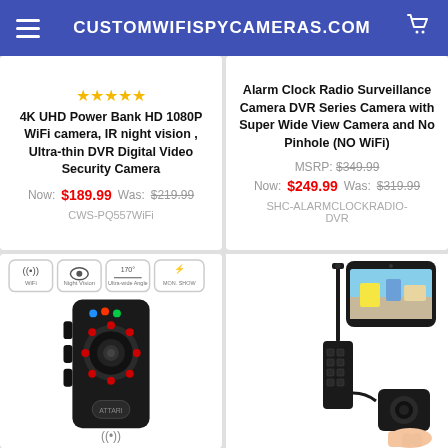CUSTOMWIFISPYCAMERAS.COM
4K UHD Power Bank HD 1080P WiFi camera, IR night vision , Ultra-thin DVR Digital Video Security Camera
Now: $189.99  Was: $219.99
CWS-PQ557WiFi
Alarm Clock Radio Surveillance Camera DVR Series Camera with Super Wide View Camera and No Pinhole (NO WiFi)
MSRP: $349.99
Now: $249.99  Was: $319.99
SHC-ALARMCLOCKRADIO-DVR
[Figure (photo): Body camera product photo with feature icons (WiFi, Night Vision, Wide Angle, Motion Detection) and front-facing camera with red ring LEDs]
[Figure (photo): Miniature spy camera module with antenna cable and phone showing live feed of a room]